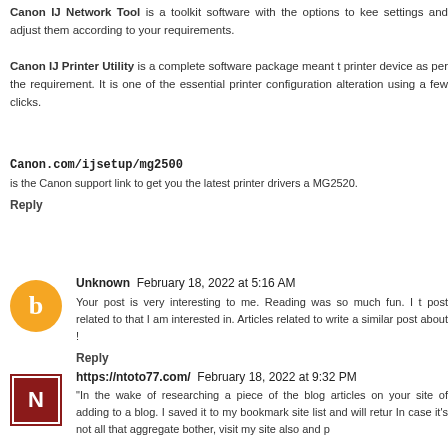Canon IJ Network Tool is a toolkit software with the options to keep settings and adjust them according to your requirements.
Canon IJ Printer Utility is a complete software package meant to printer device as per the requirement. It is one of the essential printer configuration alteration using a few clicks.
Canon.com/ijsetup/mg2500
is the Canon support link to get you the latest printer drivers MG2520.
Reply
Unknown  February 18, 2022 at 5:16 AM
Your post is very interesting to me. Reading was so much fun. I t post related to that I am interested in. Articles related to write a similar post about !
Reply
https://ntoto77.com/  February 18, 2022 at 9:32 PM
"In the wake of researching a piece of the blog articles on your site of adding to a blog. I saved it to my bookmark site list and will retur In case it's not all that aggregate bother, visit my site also and p